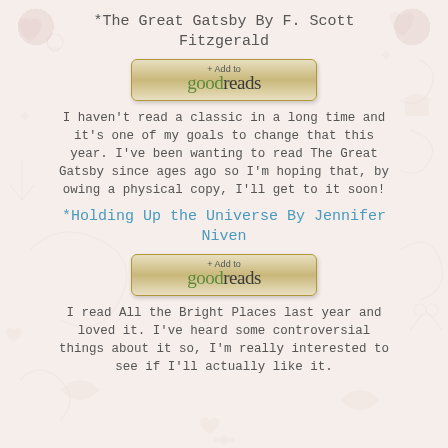*The Great Gatsby By F. Scott Fitzgerald
[Figure (logo): Goodreads + Add to goodreads button]
I haven't read a classic in a long time and it's one of my goals to change that this year. I've been wanting to read The Great Gatsby since ages ago so I'm hoping that, by owing a physical copy, I'll get to it soon!
*Holding Up the Universe By Jennifer Niven
[Figure (logo): Goodreads + Add to goodreads button]
I read All the Bright Places last year and loved it. I've heard some controversial things about it so, I'm really interested to see if I'll actually like it.